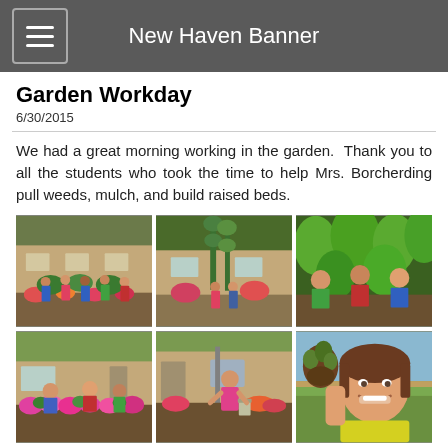New Haven Banner
Garden Workday
6/30/2015
We had a great morning working in the garden.  Thank you to all the students who took the time to help Mrs. Borcherding pull weeds, mulch, and build raised beds.
[Figure (photo): Group of students posing in garden with flowers and building in background]
[Figure (photo): Students in garden with tall sunflowers and colorful flowers against building]
[Figure (photo): Students peeking through large green leaves in garden]
[Figure (photo): Children posing near bright pink and red flower bed by school building]
[Figure (photo): Person in pink shirt working in garden with flower beds]
[Figure (photo): Smiling student in yellow tank top holding plant with roots]